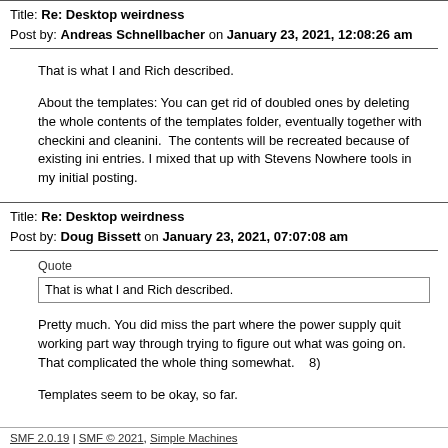Title: Re: Desktop weirdness
Post by: Andreas Schnellbacher on January 23, 2021, 12:08:26 am
That is what I and Rich described.
About the templates: You can get rid of doubled ones by deleting the whole contents of the templates folder, eventually together with checkini and cleanini.  The contents will be recreated because of existing ini entries. I mixed that up with Stevens Nowhere tools in my initial posting.
Title: Re: Desktop weirdness
Post by: Doug Bissett on January 23, 2021, 07:07:08 am
Quote
That is what I and Rich described.
Pretty much. You did miss the part where the power supply quit working part way through trying to figure out what was going on. That complicated the whole thing somewhat.    8)
Templates seem to be okay, so far.
SMF 2.0.19 | SMF © 2021, Simple Machines